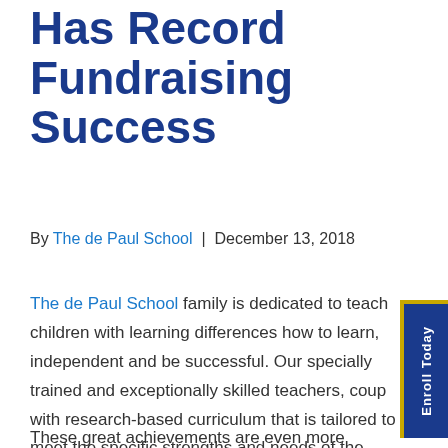Has Record Fundraising Success
By The de Paul School | December 13, 2018
The de Paul School family is dedicated to teaching children with learning differences how to learn, independent and be successful. Our specially trained and exceptionally skilled teachers, coupled with research-based curriculum that is tailored to meet the specific strengths and needs of the students, provides every student and alumni an environment where they can achieve more than they ever dreamed possible.
These great achievements are even more